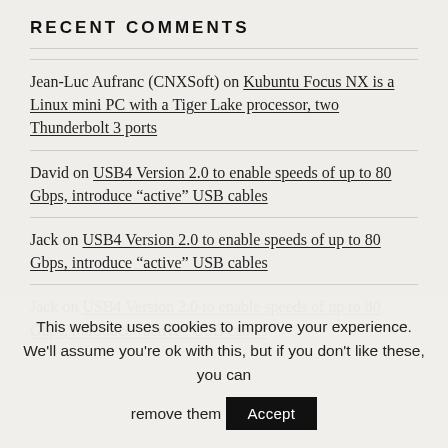RECENT COMMENTS
Jean-Luc Aufranc (CNXSoft) on Kubuntu Focus NX is a Linux mini PC with a Tiger Lake processor, two Thunderbolt 3 ports
David on USB4 Version 2.0 to enable speeds of up to 80 Gbps, introduce “active” USB cables
Jack on USB4 Version 2.0 to enable speeds of up to 80 Gbps, introduce “active” USB cables
Jack on USB4 Version 2.0 to enable speeds of up to 80 Gbps, introduce “active” USB cables
This website uses cookies to improve your experience. We'll assume you're ok with this, but if you don't like these, you can remove them  Accept